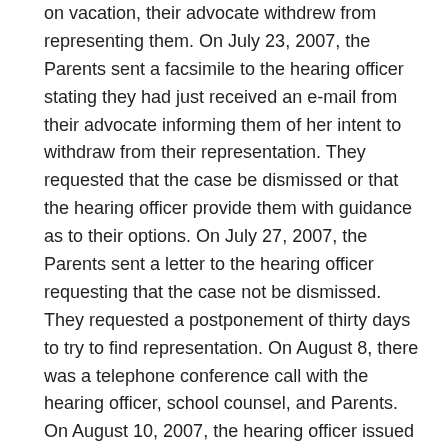on vacation, their advocate withdrew from representing them. On July 23, 2007, the Parents sent a facsimile to the hearing officer stating they had just received an e-mail from their advocate informing them of her intent to withdraw from their representation. They requested that the case be dismissed or that the hearing officer provide them with guidance as to their options. On July 27, 2007, the Parents sent a letter to the hearing officer requesting that the case not be dismissed. They requested a postponement of thirty days to try to find representation. On August 8, there was a telephone conference call with the hearing officer, school counsel, and Parents. On August 10, 2007, the hearing officer issued an order allowing Parents' request to postpone the last day of hearing over the school's objection. Parents were given a deadline of August 27, 2007 to inform the hearing officer and the opposing party how they wished to proceed. On August 27, 2007, Parents sent a letter to the hearing officer